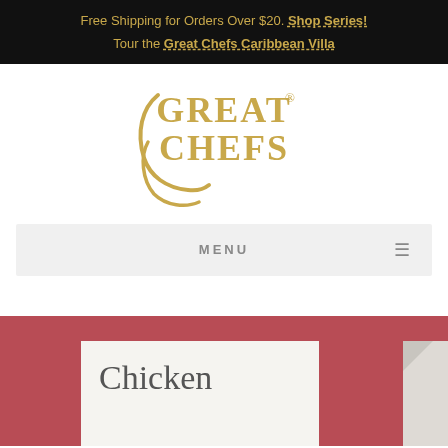Free Shipping for Orders Over $20. Shop Series! Tour the Great Chefs Caribbean Villa
[Figure (logo): Great Chefs logo in golden/yellow color with stylized serif lettering and registered trademark symbol]
MENU
Chicken